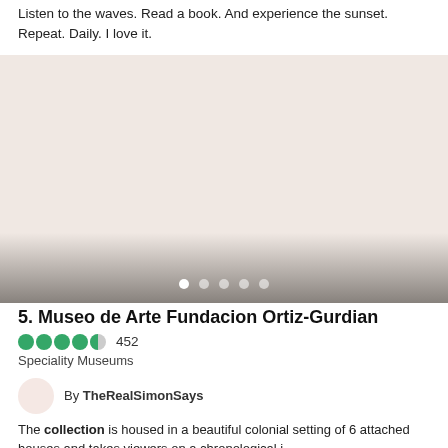Listen to the waves. Read a book. And experience the sunset. Repeat. Daily. I love it.
[Figure (photo): A large image placeholder with a pinkish-beige background, fading to dark grey at the bottom, with carousel navigation dots (5 dots, first active white, rest semi-transparent) near the bottom.]
5. Museo de Arte Fundacion Ortiz-Gurdian
452 (rating: 4.5 stars, Speciality Museums)
By TheRealSimonSays
The collection is housed in a beautiful colonial setting of 6 attached houses and takes viewers on a chronological i…